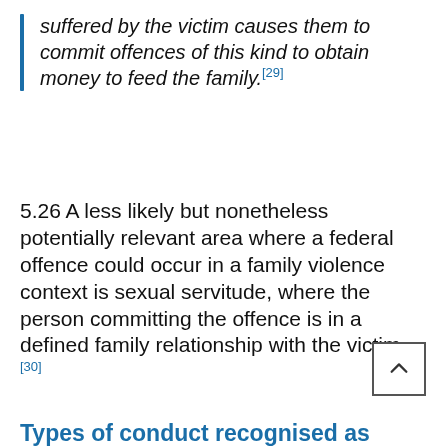suffered by the victim causes them to commit offences of this kind to obtain money to feed the family.[29]
5.26 A less likely but nonetheless potentially relevant area where a federal offence could occur in a family violence context is sexual servitude, where the person committing the offence is in a defined family relationship with the victim.[30]
Types of conduct recognised as